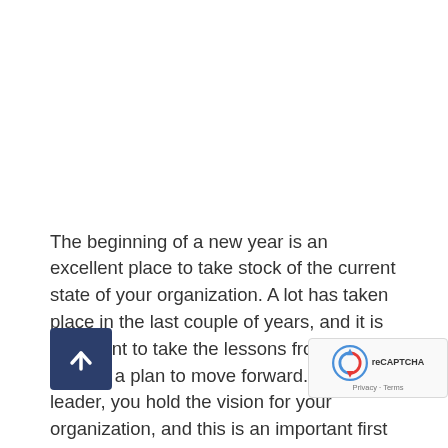The beginning of a new year is an excellent place to take stock of the current state of your organization. A lot has taken place in the last couple of years, and it is important to take the lessons from it when making a plan to move forward. As a leader, you hold the vision for your organization, and this is an important first step. A clear vision of the end state and what you are trying to accomplish. Unless others understand your vision, it will likely stay in your head. The key is to create a communication strategy to help your people understand what you see and why. The next important element is to help others see their role in moving the organization forward and bringing the vision to